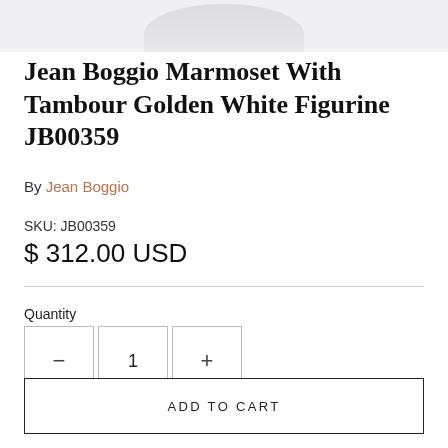[Figure (photo): Bottom portion of a white ceramic figurine against a white background]
Jean Boggio Marmoset With Tambour Golden White Figurine JB00359
By Jean Boggio
SKU: JB00359
$ 312.00 USD
Quantity
ADD TO CART